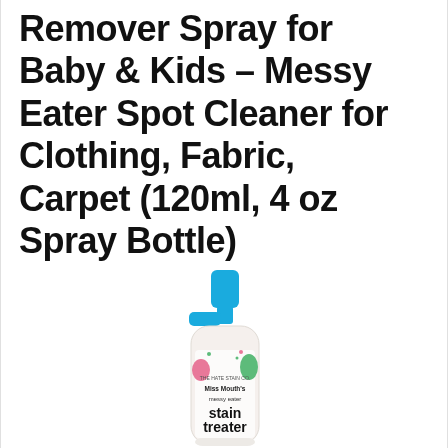Remover Spray for Baby & Kids – Messy Eater Spot Cleaner for Clothing, Fabric, Carpet (120ml, 4 oz Spray Bottle)
[Figure (photo): A spray bottle of Miss Mouth's Messy Eater Stain Treater with a bright blue pump cap on a white/cream bottle body decorated with colorful cartoon character illustrations. Label reads 'Miss Mouth's messy eater stain treater'.]